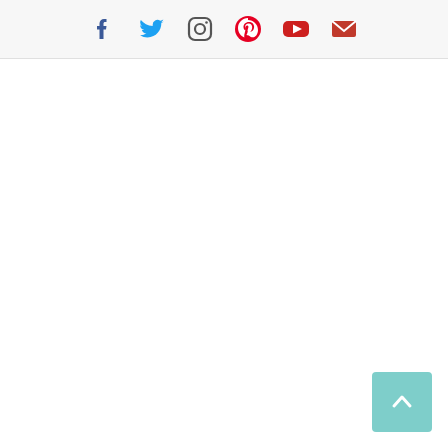[Figure (other): Social media icon bar with Facebook, Twitter, Instagram, Pinterest, YouTube, and Email icons in a light gray header strip]
[Figure (other): Teal/turquoise scroll-to-top button with an upward chevron arrow, positioned in the bottom-right corner]